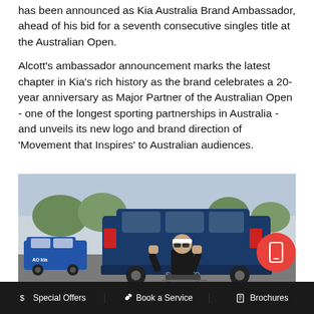has been announced as Kia Australia Brand Ambassador, ahead of his bid for a seventh consecutive singles title at the Australian Open.
Alcott's ambassador announcement marks the latest chapter in Kia's rich history as the brand celebrates a 20-year anniversary as Major Partner of the Australian Open - one of the longest sporting partnerships in Australia - and unveils its new logo and brand direction of 'Movement that Inspires' to Australian audiences.
[Figure (photo): A man in a wheelchair with fists raised in a celebratory pose, positioned in front of a blue Kia SUV in a parking area. A smaller blue car with AO Kia branding is visible on the left.]
$ Special Offers   🔧 Book a Service   📋 Brochures